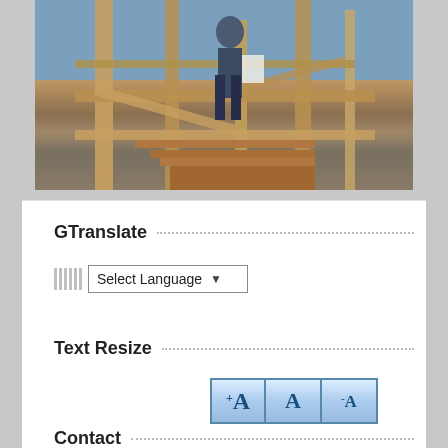[Figure (photo): A construction worker standing on wooden framing structure of a building under construction, holding papers, viewed from below against a wooden beam frame.]
GTranslate
[Figure (screenshot): Select Language dropdown widget with small flag icons on the left and a dropdown box reading 'Select Language' with an arrow.]
Text Resize
[Figure (screenshot): Three text resize buttons: A+ (increase), A (normal), A- (decrease), styled with blue gradient background and border.]
Contact